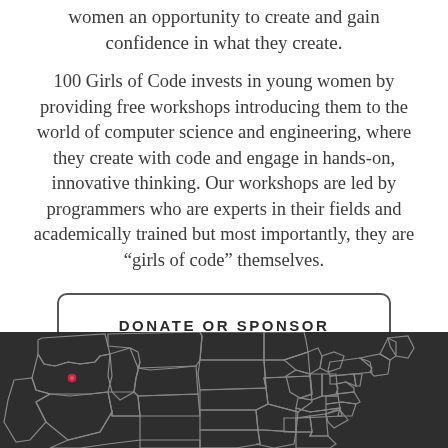women an opportunity to create and gain confidence in what they create.
100 Girls of Code invests in young women by providing free workshops introducing them to the world of computer science and engineering, where they create with code and engage in hands-on, innovative thinking. Our workshops are led by programmers who are experts in their fields and academically trained but most importantly, they are “girls of code” themselves.
DONATE OR SPONSOR
[Figure (map): Dark background map of the contiguous United States with state outlines in light gray and a red marker pin indicating a location in the Pacific Northwest (Oregon area).]